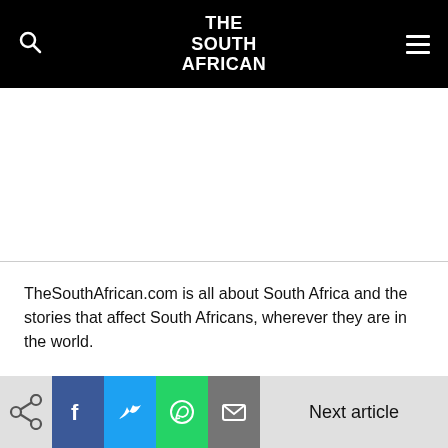THE SOUTH AFRICAN
[Figure (screenshot): Navigation bar with NEWS, SPORT, CULTURE, LIFESTYLE, BUSINESS tabs, with CULTURE underlined/active]
TheSouthAfrican.com is all about South Africa and the stories that affect South Africans, wherever they are in the world.
We're independent.
No agenda.
No Bias.
Next article